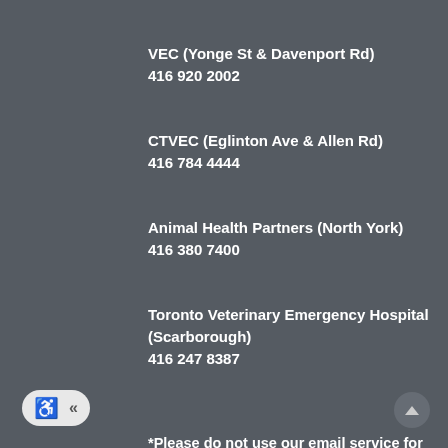VEC (Yonge St & Davenport Rd)
416 920 2002
CTVEC (Eglinton Ave & Allen Rd)
416 784 4444
Animal Health Partners (North York)
416 380 7400
Toronto Veterinary Emergency Hospital
(Scarborough)
416 247 8387
*Please do not use our email service for emergencies as this may result in unnecessary delays in the care of your pet.